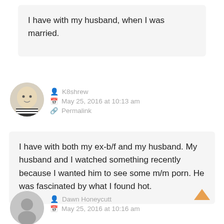I have with my husband, when I was married.
K8shrew
May 25, 2016 at 10:13 am
Permalink
I have with both my ex-b/f and my husband. My husband and I watched something recently because I wanted him to see some m/m porn. He was fascinated by what I found hot.
Dawn Honeycutt
May 25, 2016 at 10:16 am